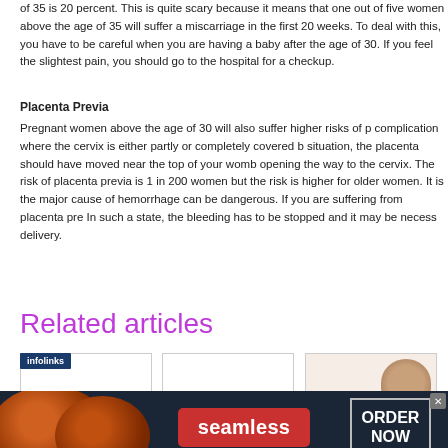of 35 is 20 percent. This is quite scary because it means that one out of five women above the age of 35 will suffer a miscarriage in the first 20 weeks. To deal with this, you have to be careful when you are having a baby after the age of 30. If you feel the slightest pain, you should go to the hospital for a checkup.
Placenta Previa
Pregnant women above the age of 30 will also suffer higher risks of placenta previa, a complication where the cervix is either partly or completely covered by the placenta. In a normal situation, the placenta should have moved near the top of your womb before delivery, clearing and opening the way to the cervix. The risk of placenta previa is 1 in 200 deliveries for younger women but the risk is higher for older women. It is the major cause of hemorrhage and this hemorrhage can be dangerous. If you are suffering from placenta previa, you will bleed heavily. In such a state, the bleeding has to be stopped and it may be necessary to have a caesarean delivery.
Related articles
[Figure (screenshot): Advertisement banner for Seamless food delivery service showing pizza image on left, Seamless logo in red badge in center, and ORDER NOW button on right, with infolinks branding overlay]